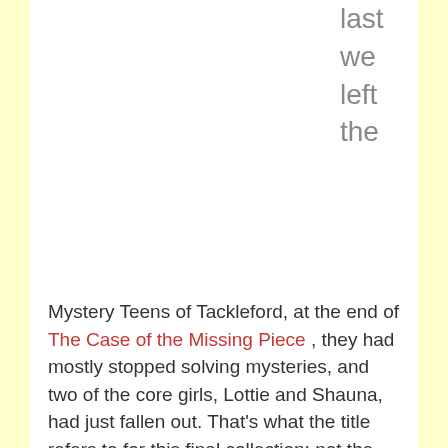last we left the
Mystery Teens of Tackleford, at the end of The Case of the Missing Piece , they had mostly stopped solving mysteries, and two of the core girls, Lottie and Shauna, had just fallen out. That's what the title refers to for this final collection: not the supernatural menace that threatens Tackleford (which is quite real and sinister),